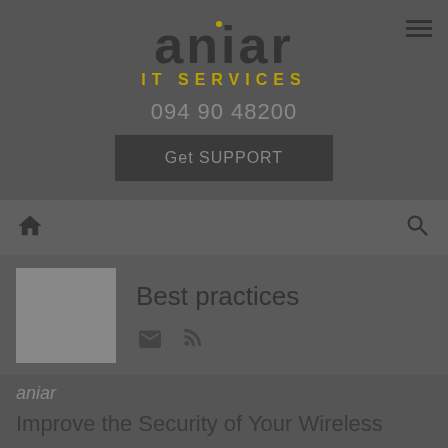[Figure (logo): Aniar IT Services logo with stylized lowercase text and golden 'IT SERVICES' subtitle]
094 90 48200
Get SUPPORT
[Figure (screenshot): Navigation bar with home icon on left and search icon on right]
[Figure (illustration): Category thumbnail image placeholder (grey square)]
Best practices
[Figure (other): Email and RSS feed icons]
aniar
Improve the Security of Your Wireless